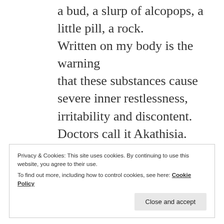a bud, a slurp of alcopops, a little pill, a rock.
Written on my body is the warning
that these substances cause severe inner restlessness, irritability and discontent.
Doctors call it Akathisia.
I know it as spiritual malady.
It is a hymn to the Lower Power.
Privacy & Cookies: This site uses cookies. By continuing to use this website, you agree to their use.
To find out more, including how to control cookies, see here: Cookie Policy
Close and accept
the other Akathist Hymn to the